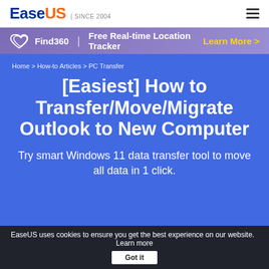EaseUS | SINCE 2004
[Figure (infographic): Find360 | Free Real-time Location Tracker   Learn More >]
Home > How-to Articles > PC Transfer
[Easiest] How to Transfer/Move/Migrate Outlook to New Computer
Try smart Windows 11 data transfer tool to move all data in 1 click.
EaseUS uses cookies to ensure you get the best experience on our website.   Learn more   Got it